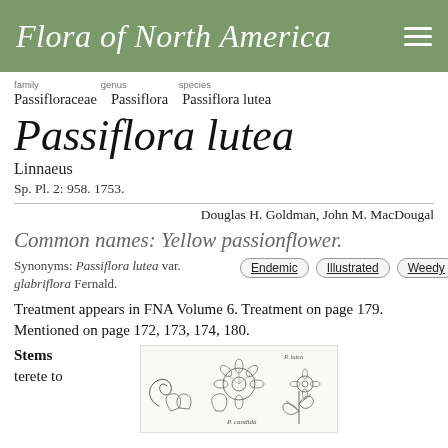Flora of North America
family Passifloraceae  genus Passiflora  species Passiflora lutea
Passiflora lutea
Linnaeus
Sp. Pl. 2: 958. 1753.
Douglas H. Goldman, John M. MacDougal
Common names: Yellow passionflower.
Synonyms: Passiflora lutea var. glabriflora Fernald.
Treatment appears in FNA Volume 6. Treatment on page 179. Mentioned on page 172, 173, 174, 180.
Stems terete to
[Figure (illustration): Botanical illustration of Passiflora lutea showing tendrils, leaves, flowers, and plant parts]